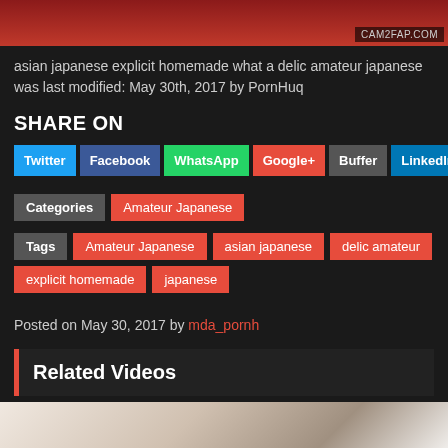[Figure (photo): Top thumbnail image with CAM2FAP.COM watermark]
asian japanese explicit homemade what a delic amateur japanese was last modified: May 30th, 2017 by PornHuq
SHARE ON
Twitter | Facebook | WhatsApp | Google+ | Buffer | LinkedIn | Pin It
Categories: Amateur Japanese
Tags: Amateur Japanese, asian japanese, delic amateur, explicit homemade, japanese
Posted on May 30, 2017 by mda_pornh
Related Videos
[Figure (photo): Related video thumbnail at bottom]